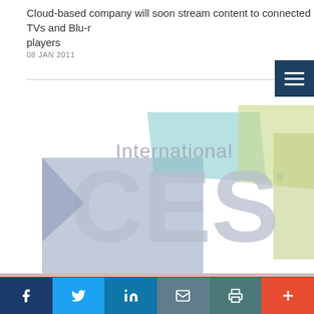Cloud-based company will soon stream content to connected TVs and Blu-r players
08 JAN 2011
[Figure (logo): International CES logo — large letters CES with 'International' above, in muted blue/teal/green color blocks, blurred/faded background image]
Social sharing bar: Facebook, Twitter, LinkedIn, Email, Print, More